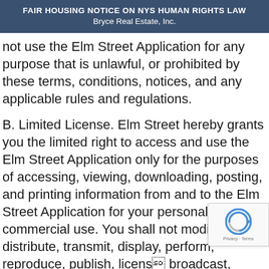FAIR HOUSING NOTICE ON NYS HUMAN RIGHTS LAW
Bryce Real Estate, Inc.
not use the Elm Street Application for any purpose that is unlawful, or prohibited by these terms, conditions, notices, and any applicable rules and regulations.
B. Limited License. Elm Street hereby grants you the limited right to access and use the Elm Street Application only for the purposes of accessing, viewing, downloading, posting, and printing information from and to the Elm Street Application for your personal and non-commercial use. You shall not modify, copy, distribute, transmit, display, perform, reproduce, publish, license, broadcast, create derivative works from, transfer,